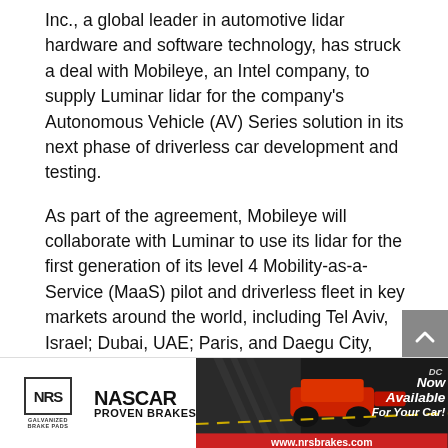Inc., a global leader in automotive lidar hardware and software technology, has struck a deal with Mobileye, an Intel company, to supply Luminar lidar for the company's Autonomous Vehicle (AV) Series solution in its next phase of driverless car development and testing.
As part of the agreement, Mobileye will collaborate with Luminar to use its lidar for the first generation of its level 4 Mobility-as-a-Service (MaaS) pilot and driverless fleet in key markets around the world, including Tel Aviv, Israel; Dubai, UAE; Paris, and Daegu City, South Korea.
[Figure (other): NRS Galvanized Brake Pads advertisement featuring NASCAR Proven Brakes logo and a racing car image, with text 'Now Available For Your Car!' and website www.nrsbrakes.com on a red banner]